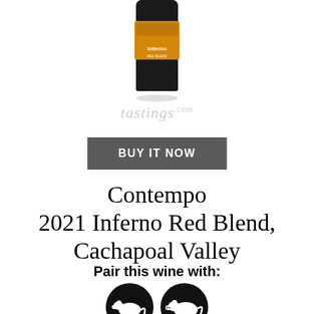[Figure (photo): Wine bottle of Contempo 2021 Inferno Red Blend, partially cropped at top showing dark bottle with orange and black label]
[Figure (logo): tastings.com logo in light gray italic text]
BUY IT NOW
Contempo 2021 Inferno Red Blend, Cachapoal Valley
Pair this wine with:
[Figure (illustration): Two black circular icons: one with a cow silhouette and one with a pig silhouette, representing food pairing suggestions]